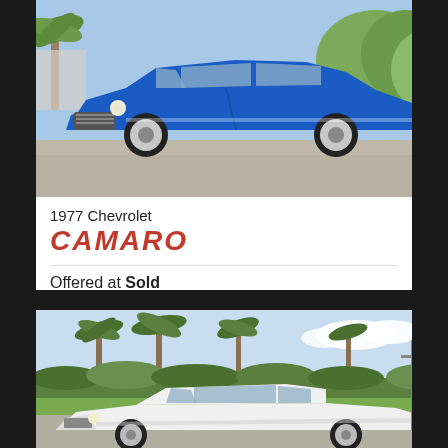[Figure (photo): 1977 Chevrolet Camaro in metallic blue, front three-quarter view, parked on gravel with palm trees in background]
1977 Chevrolet
CAMARO
Offered at Sold
[Figure (photo): White classic car, possibly Cadillac Eldorado or similar, parked on street with palm trees and hedges in background]